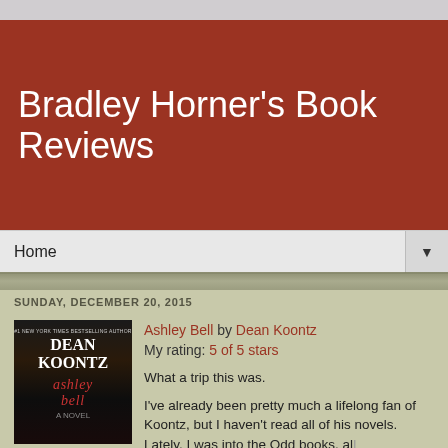Bradley Horner's Book Reviews
Home
SUNDAY, DECEMBER 20, 2015
[Figure (illustration): Book cover for Ashley Bell by Dean Koontz showing dark background with author name and book title]
Ashley Bell by Dean Koontz
My rating: 5 of 5 stars

What a trip this was.

I've already been pretty much a lifelong fan of Koontz, but I haven't read all of his novels. Lately, I was into the Odd books, all